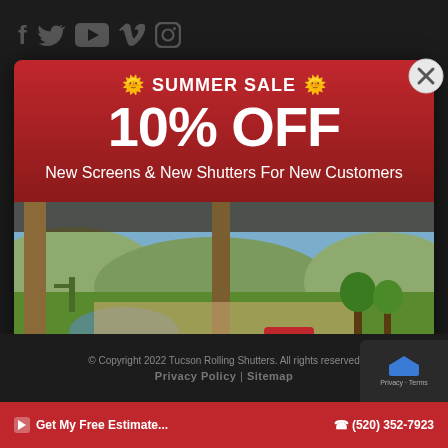[Figure (screenshot): Social media icons (Facebook, Twitter, YouTube, Vimeo, Instagram) on dark background]
[Figure (photo): Promotional popup for Summer Sale: 10% OFF New Screens & New Shutters For New Customers. Background shows a patio with round table and chairs overlooking a green backyard with pool and desert landscape.]
*Restrictions apply: service calls, labor & parts not included. Not valid with other discounts, existing contracts or wholesale.
© Copyright 2022 Tucson Rolling Shutters. All rights reserved. Privacy Policy | Sitemap
Get My Free Estimate... (520) 352-7923